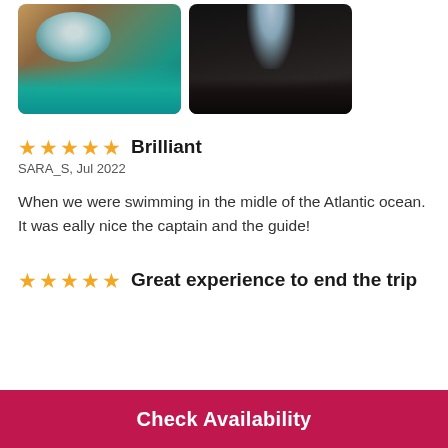[Figure (photo): Two cave/grotto photos side by side showing turquoise ocean water through rock arches]
★★★★★ Brilliant
SARA_S, Jul 2022
When we were swimming in the midle of the Atlantic ocean. It was eally nice the captain and the guide!
★★★★★ Great experience to end the trip
Check Availability